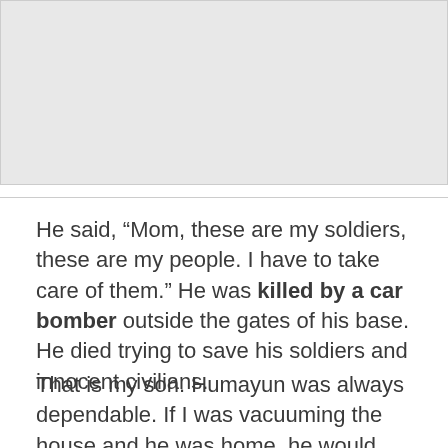[Figure (other): Gray placeholder image area at the top of the page]
He said, “Mom, these are my soldiers, these are my people. I have to take care of them.” He was killed by a car bomber outside the gates of his base. He died trying to save his soldiers and innocent civilians.
That is my son. Humayun was always dependable. If I was vacuuming the house and he was home, he would take the vacuum